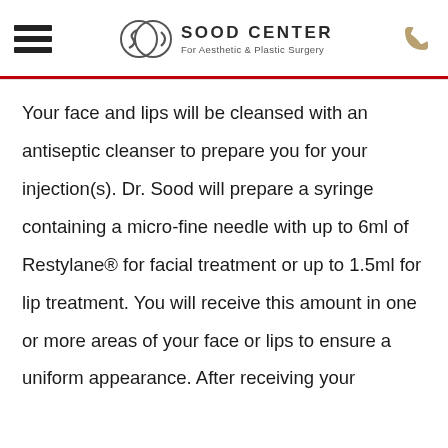Sood Center For Aesthetic & Plastic Surgery
Your face and lips will be cleansed with an antiseptic cleanser to prepare you for your injection(s). Dr. Sood will prepare a syringe containing a micro-fine needle with up to 6ml of Restylane® for facial treatment or up to 1.5ml for lip treatment. You will receive this amount in one or more areas of your face or lips to ensure a uniform appearance. After receiving your